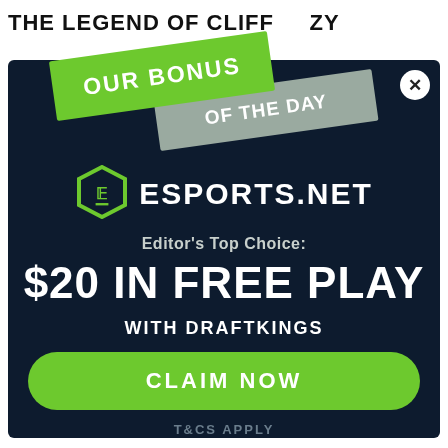THE LEGEND OF CLIFF ZY
[Figure (infographic): Promotional modal overlay for ESPORTS.NET featuring 'OUR BONUS OF THE DAY' ribbon banners in green and gray, ESPORTS.NET logo with hexagon icon, offer text '$20 IN FREE PLAY WITH DRAFTKINGS', a green 'CLAIM NOW' button, and 'T&CS APPLY' footer text on a dark navy background.]
Editor's Top Choice:
$20 IN FREE PLAY
WITH DRAFTKINGS
CLAIM NOW
T&CS APPLY